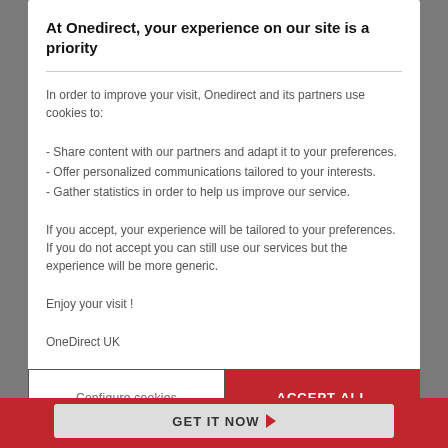At Onedirect, your experience on our site is a priority
In order to improve your visit, Onedirect and its partners use cookies to:
- Share content with our partners and adapt it to your preferences.
- Offer personalized communications tailored to your interests.
- Gather statistics in order to help us improve our service.
If you accept, your experience will be tailored to your preferences. If you do not accept you can still use our services but the experience will be more generic.
Enjoy your visit !
OneDirect UK